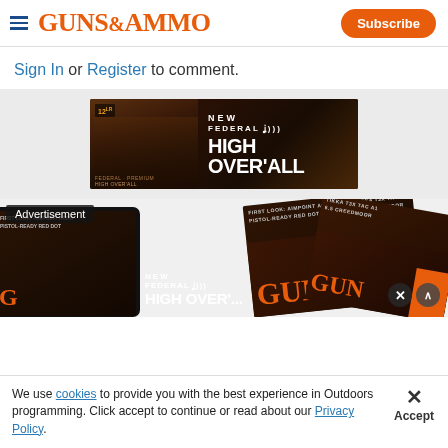Guns & Ammo — Subscribe
Sign In or Register to comment.
[Figure (photo): Federal High Over'All shotgun shells advertisement banner — dark background with ammunition shells on left, 'NEW FEDERAL HIGH OVER'ALL' text on right]
[Figure (photo): Guns & Ammo digital magazine advertisement showing tablet and magazine covers with Federal ad overlay, 'Advertisement' label, close and up buttons]
We use cookies to provide you with the best experience in Outdoors programming. Click accept to continue or read about our Privacy Policy.